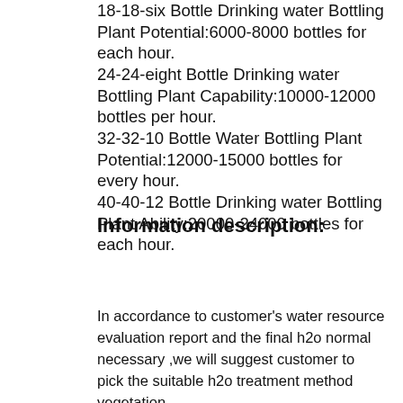18-18-six Bottle Drinking water Bottling Plant Potential:6000-8000 bottles for each hour.
24-24-eight Bottle Drinking water Bottling Plant Capability:10000-12000 bottles per hour.
32-32-10 Bottle Water Bottling Plant Potential:12000-15000 bottles for every hour.
40-40-12 Bottle Drinking water Bottling Plant Ability:20000-24000 bottles for each hour.
Information description:
In accordance to customer's water resource evaluation report and the final h2o normal necessary ,we will suggest customer to pick the suitable h2o treatment method vegetation.